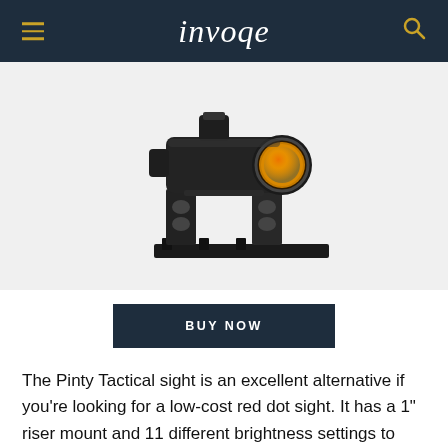invoqe
[Figure (photo): A black Pinty Tactical red dot sight with a 1-inch riser mount, shown at an angle. The sight has an orange/amber lens and a picatinny rail mount below it.]
BUY NOW
The Pinty Tactical sight is an excellent alternative if you're looking for a low-cost red dot sight. It has a 1" riser mount and 11 different brightness settings to choose from.